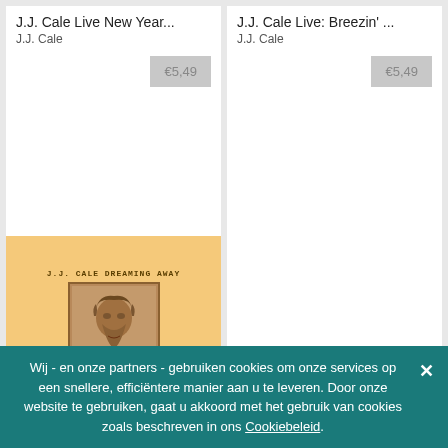J.J. Cale Live New Year...
J.J. Cale
€5,49
J.J. Cale Live: Breezin' ...
J.J. Cale
€5,49
[Figure (illustration): Album cover for J.J. Cale Dreaming Away on orange/yellow background with portrait photo and '16-BIT FLAC' badge]
Dreaming Away (Live ...
J.J. Cale
[Figure (illustration): Album art placeholder for Drifters Life; The Bro... with white background and '16-BIT FLAC' badge]
Drifters Life; The Bro...
J.J. Cale
Wij - en onze partners - gebruiken cookies om onze services op een snellere, efficiëntere manier aan u te leveren. Door onze website te gebruiken, gaat u akkoord met het gebruik van cookies zoals beschreven in ons Cookiebeleid.